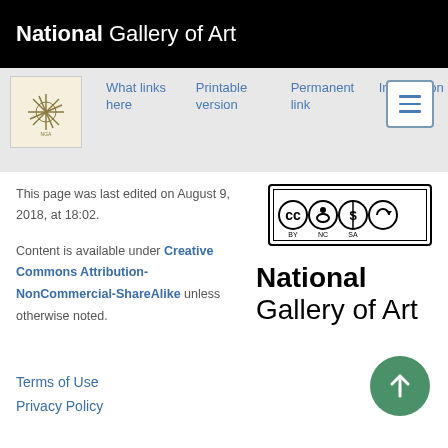National Gallery of Art
What links here
Printable version
Permanent link
Information
Cite this page
This page was last edited on August 9, 2018, at 18:02.
Content is available under Creative Commons Attribution-NonCommercial-ShareAlike unless otherwise noted.
[Figure (logo): Creative Commons CC BY NC SA license badge]
[Figure (logo): National Gallery of Art logo — bold National followed by Gallery of Art in regular weight]
Terms of Use
Privacy Policy